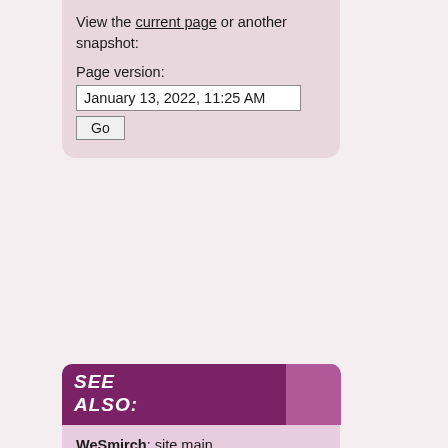View the current page or another snapshot:
Page version:
January 13, 2022, 11:25 AM
Go
SEE ALSO:
WeSmirch: site main
WeSmirch River: reverse chronological WeSmirch
WeSmirch Mobile: for phones
WeSmirch Leaderboard: WeSmirch's top sources